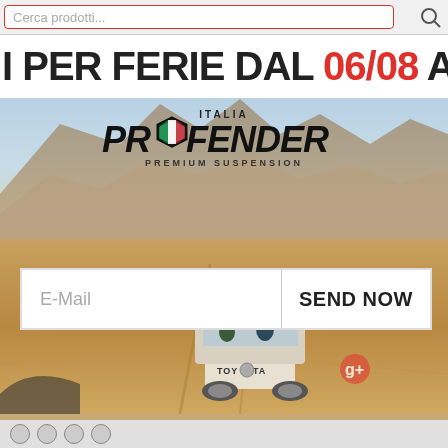Cerca prodotti...
I PER FERIE DAL 06/08 AL
[Figure (logo): Profender Italia Premium Suspension logo in black and white with Italian flag hexagonal emblem]
E-Mail   SEND NOW
[Figure (photo): Desert landscape with sandy track, rocky mountains in background, Toyota pickup truck seen from behind with two people sitting in the truck bed]
Navigation dots